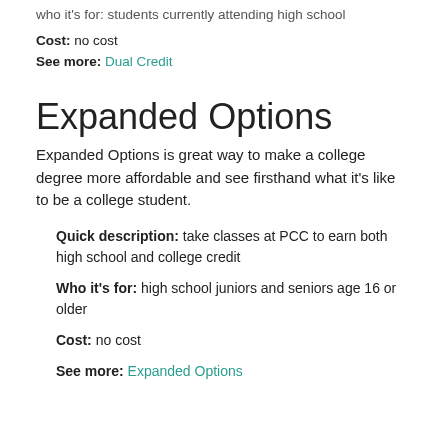who it's for: students currently attending high school
Cost: no cost
See more: Dual Credit
Expanded Options
Expanded Options is great way to make a college degree more affordable and see firsthand what it's like to be a college student.
Quick description: take classes at PCC to earn both high school and college credit
Who it's for: high school juniors and seniors age 16 or older
Cost: no cost
See more: Expanded Options